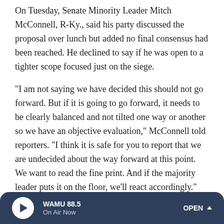On Tuesday, Senate Minority Leader Mitch McConnell, R-Ky., said his party discussed the proposal over lunch but added no final consensus had been reached. He declined to say if he was open to a tighter scope focused just on the siege.
"I am not saying we have decided this should not go forward. But if it is going to go forward, it needs to be clearly balanced and not tilted one way or another so we have an objective evaluation," McConnell told reporters. "I think it is safe for you to report that we are undecided about the way forward at this point. We want to read the fine print. And if the majority leader puts it on the floor, we'll react accordingly."
WAMU 88.5 — On Air Now — OPEN